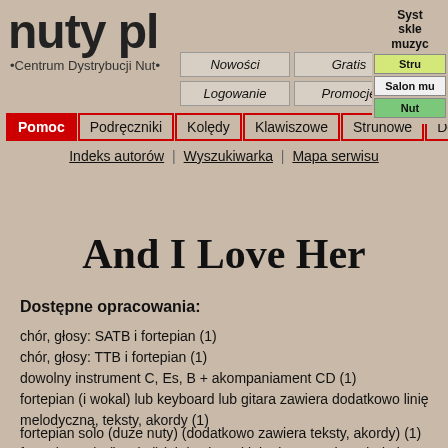nuty pl •Centrum Dystrybucji Nut•
Syst skle muzyc Stru Salon mu Nut
Nowości | Gratis | Logowanie | Promocje
Pomoc | Podręczniki | Kolędy | Klawiszowe | Strunowe | Dęte
Indeks autorów | Wyszukiwarka | Mapa serwisu
And I Love Her
Dostępne opracowania:
chór, głosy: SATB i fortepian (1)
chór, głosy: TTB i fortepian (1)
dowolny instrument C, Es, B + akompaniament CD (1)
fortepian (i wokal) lub keyboard lub gitara zawiera dodatkowo linię melodyczną, teksty, akordy (1)
fortepian solo (duże nuty) (dodatkowo zawiera teksty, akordy) (1)
fortepian solo (i wokal) lub keyboard lub gitara zawiera dodatkowo linię